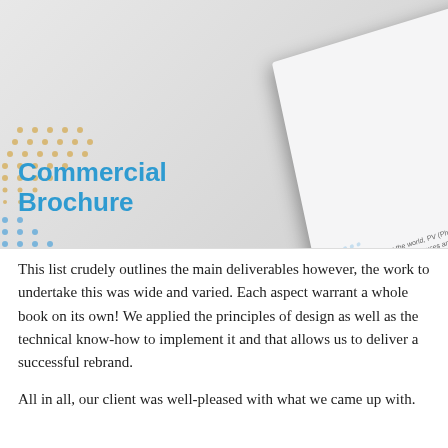[Figure (illustration): A commercial brochure mockup showing a tilted/angled brochure cover with '50%' in blue text and donut chart, decorative dot patterns in blue and gold, and the text 'Commercial Brochure' in blue on the left side. The brochure panel shows partial text about PV (Photovoltaic) and electricity.]
This list crudely outlines the main deliverables however, the work to undertake this was wide and varied. Each aspect warrant a whole book on its own! We applied the principles of design as well as the technical know-how to implement it and that allows us to deliver a successful rebrand.
All in all, our client was well-pleased with what we came up with.